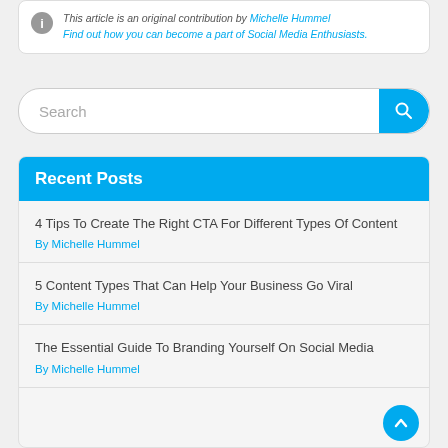This article is an original contribution by Michelle Hummel Find out how you can become a part of Social Media Enthusiasts.
Search
Recent Posts
4 Tips To Create The Right CTA For Different Types Of Content
By Michelle Hummel
5 Content Types That Can Help Your Business Go Viral
By Michelle Hummel
The Essential Guide To Branding Yourself On Social Media
By Michelle Hummel